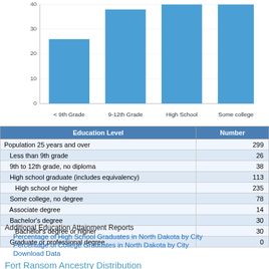[Figure (bar-chart): Education Level Distribution]
| Education Level | Number |
| --- | --- |
| Population 25 years and over | 299 |
| Less than 9th grade | 26 |
| 9th to 12th grade, no diploma | 38 |
| High school graduate (includes equivalency) | 113 |
| High school or higher | 235 |
| Some college, no degree | 78 |
| Associate degree | 14 |
| Bachelor's degree | 30 |
| Bachelor's degree or higher | 30 |
| Graduate or professional degree | 0 |
Additional Education Attainment Reports
Percentage of High School Graduates in North Dakota by City
Percentage of College Graduates in North Dakota by City
Download Data
Fort Ransom Ancestry Distribution